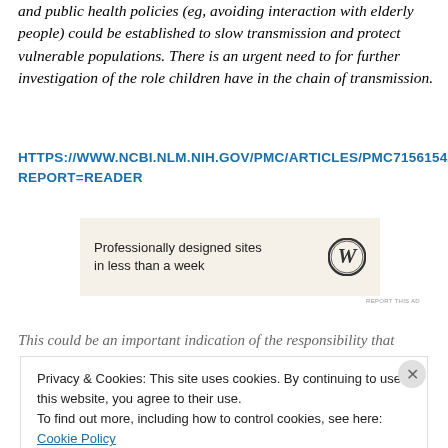and public health policies (eg, avoiding interaction with elderly people) could be established to slow transmission and protect vulnerable populations. There is an urgent need to for further investigation of the role children have in the chain of transmission.
HTTPS://WWW.NCBI.NLM.NIH.GOV/PMC/ARTICLES/PMC7156154/?REPORT=READER
[Figure (other): Advertisement banner with cream background showing WordPress logo and text: Professionally designed sites in less than a week]
This could be an important indication of the responsibility that...
Privacy & Cookies: This site uses cookies. By continuing to use this website, you agree to their use.
To find out more, including how to control cookies, see here: Cookie Policy